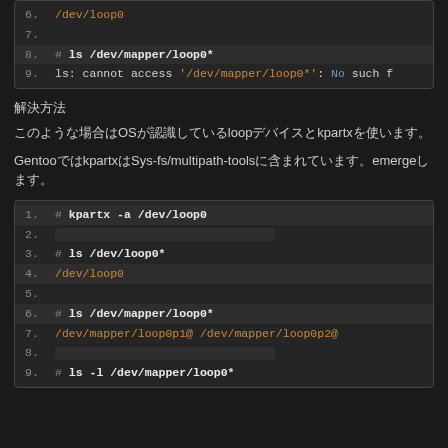[Figure (screenshot): Code block showing lines 6-9 of a terminal session: /dev/loop0, blank line, # ls /dev/mapper/loop0*, ls: cannot access '/dev/mapper/loop0*': No such f]
解決方法
このような場合はOSが認識しているloopデバイスとkpartxを使います。
GentooではkpartxはSys-fs/multipath-toolsに含まれています。emergeします。
[Figure (screenshot): Code block showing lines 1-9 of kpartx terminal session: # kpartx -a /dev/loop0, blank, # ls /dev/loop0*, /dev/loop0, blank, # ls /dev/mapper/loop0*, /dev/mapper/loop0p1@ /dev/mapper/loop0p2@, blank, # ls -l /dev/mapper/loop0*]